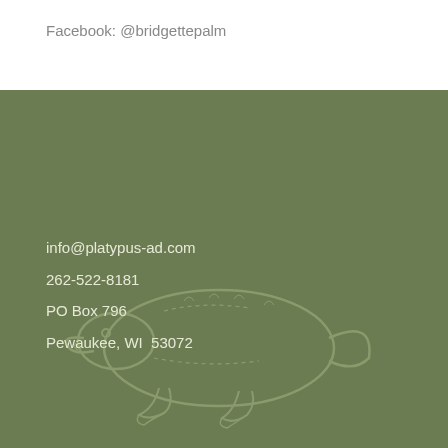Facebook: @bridgettepalm
info@platypus-ad.com
262-522-8181
PO Box 796
Pewaukee, WI  53072
[Figure (illustration): Faint watermark-style illustration of a platypus on an olive/sage green background]